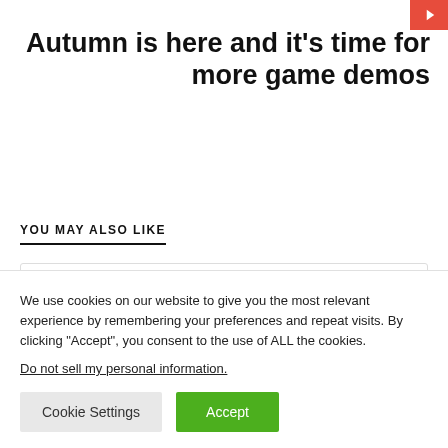Autumn is here and it's time for more game demos
YOU MAY ALSO LIKE
[Figure (other): Card with teal H badge and text HIDDEN GEM SPOTLIGHT]
We use cookies on our website to give you the most relevant experience by remembering your preferences and repeat visits. By clicking “Accept”, you consent to the use of ALL the cookies.
Do not sell my personal information.
Cookie Settings  Accept